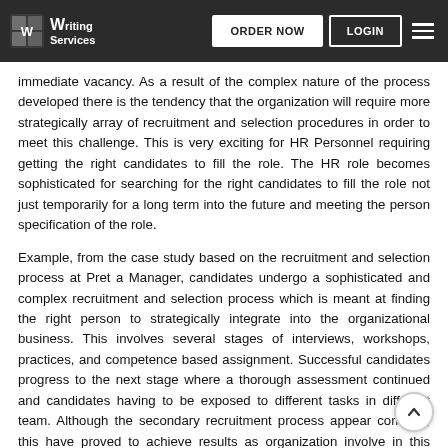Writing Services | ORDER NOW | LOGIN
immediate vacancy. As a result of the complex nature of the process developed there is the tendency that the organization will require more strategically array of recruitment and selection procedures in order to meet this challenge. This is very exciting for HR Personnel requiring getting the right candidates to fill the role. The HR role becomes sophisticated for searching for the right candidates to fill the role not just temporarily for a long term into the future and meeting the person specification of the role.
Example, from the case study based on the recruitment and selection process at Pret a Manager, candidates undergo a sophisticated and complex recruitment and selection process which is meant at finding the right person to strategically integrate into the organizational business. This involves several stages of interviews, workshops, practices, and competence based assignment. Successful candidates progress to the next stage where a thorough assessment continued and candidates having to be exposed to different tasks in different team. Although the secondary recruitment process appear complex, this have proved to achieve results as organization involve in this rigorous stages of finding the right candidates are among the